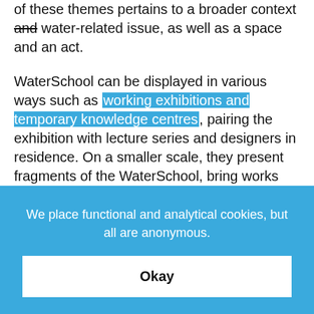of these themes pertains to a broader context and water-related issue, as well as a space and an act.
WaterSchool can be displayed in various ways such as working exhibitions and temporary knowledge centres, pairing the exhibition with lecture series and designers in residence. On a smaller scale, they present fragments of the WaterSchool, bring works together within settings connected to education and the
We place functional and analytical cookies, but all are anonymous.
Okay